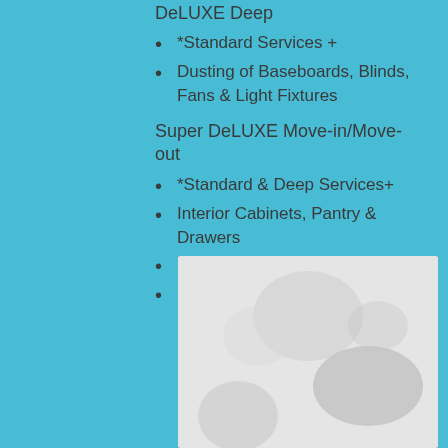DeLUXE Deep
*Standard Services +
Dusting of Baseboards, Blinds, Fans & Light Fixtures
Super DeLUXE Move-in/Move-out
*Standard & Deep Services+
Interior Cabinets, Pantry & Drawers
Interior Fridge
Interior Oven
[Figure (photo): Blurred grayscale photo of a room interior, likely a kitchen or bathroom, partially visible at the bottom of the page]